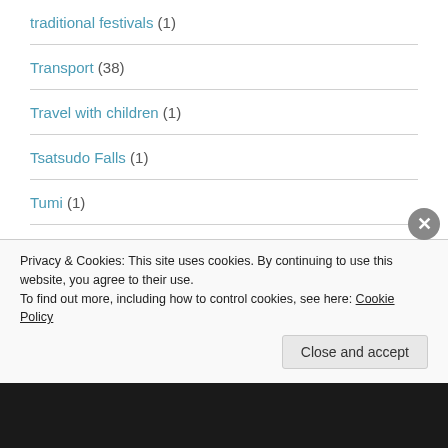traditional festivals (1)
Transport (38)
Travel with children (1)
Tsatsudo Falls (1)
Tumi (1)
Tumu (1)
turtle viewing (1)
Privacy & Cookies: This site uses cookies. By continuing to use this website, you agree to their use. To find out more, including how to control cookies, see here: Cookie Policy
Close and accept